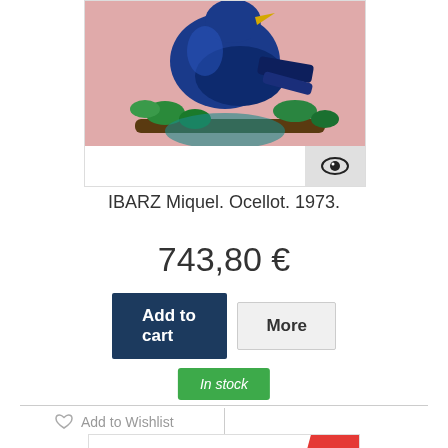[Figure (photo): Painting of a blue bird perched on a branch with green leaves against a pink background, partially visible (cropped at top). An eye/view icon is in the bottom-right corner of the image frame.]
IBARZ Miquel. Ocellot. 1973.
743,80 €
Add to cart
More
In stock
Add to Wishlist